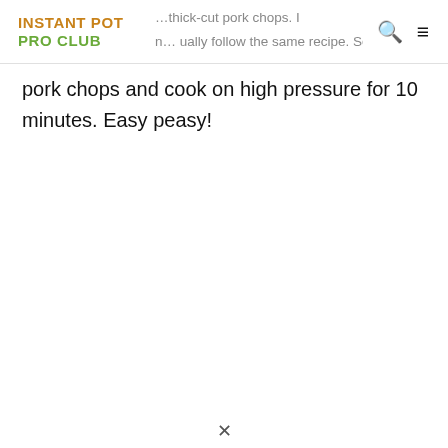INSTANT POT PRO CLUB
pork chops and cook on high pressure for 10 minutes. Easy peasy!